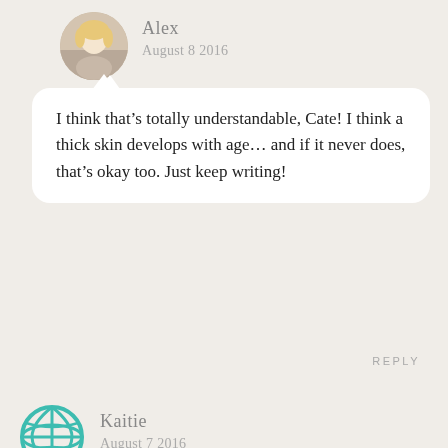[Figure (photo): Circular avatar photo of Alex, a blonde woman]
Alex
August 8 2016
I think that’s totally understandable, Cate! I think a thick skin develops with age… and if it never does, that’s okay too. Just keep writing!
REPLY
[Figure (illustration): Teal globe/world icon representing Kaitie's avatar]
Kaitie
August 7 2016
Love this post! Especially as a travel blogger, it’s important to be open to other ideas that different from your own, and this is a great example of you showing that can